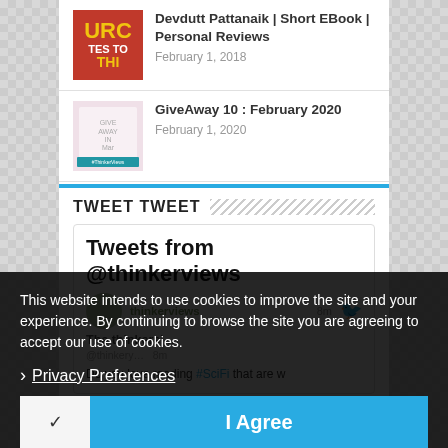[Figure (screenshot): Blog post thumbnail: red book cover with yellow/white text 'URC TES TO THI']
Devdutt Pattanaik | Short EBook | Personal Reviews
February 1, 2018
[Figure (screenshot): GiveAway thumbnail: pink background with circular text and blue banner]
GiveAway 10 : February 2020
February 1, 2020
TWEET TWEET
[Figure (screenshot): Twitter widget showing 'Tweets from @thinkerviews' with partial tweet content visible]
This website intends to use cookies to improve the site and your experience. By continuing to browse the site you are agreeing to accept our use of cookies.
Privacy Preferences
I Agree